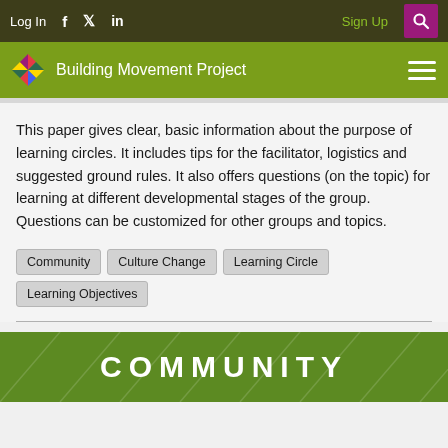Log In  f  Twitter  in  Sign Up  [Search]
Building Movement Project
This paper gives clear, basic information about the purpose of learning circles. It includes tips for the facilitator, logistics and suggested ground rules. It also offers questions (on the topic) for learning at different developmental stages of the group. Questions can be customized for other groups and topics.
Community
Culture Change
Learning Circle
Learning Objectives
[Figure (illustration): Green banner image with large white bold text reading COMMUNITY]